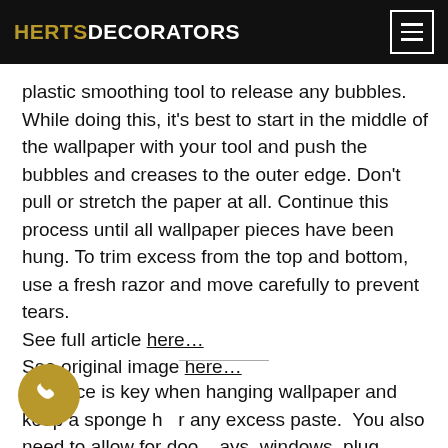HERTS DECORATORS
plastic smoothing tool to release any bubbles. While doing this, it’s best to start in the middle of the wallpaper with your tool and push the bubbles and creases to the outer edge. Don’t pull or stretch the paper at all. Continue this process until all wallpaper pieces have been hung. To trim excess from the top and bottom, use a fresh razor and move carefully to prevent tears.
See full article here…
See original image here…
Patience is key when hanging wallpaper and keep a sponge handy for any excess paste. You also need to allow for doorways, windows, plug sockets and radiators. Homebase has…